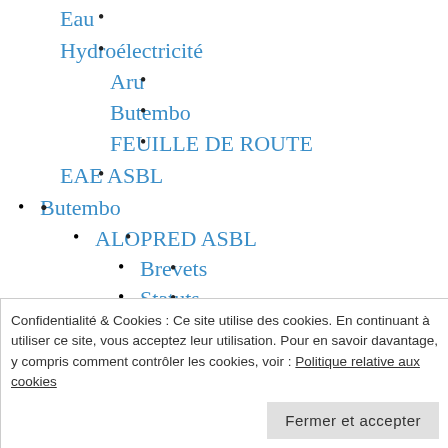Eau
Hydroélectricité
Aru
Butembo
FEUILLE DE ROUTE
EAE ASBL
Butembo
ALOPRED ASBL
Brevets
Statuts
Discussions
Confidentialité & Cookies : Ce site utilise des cookies. En continuant à utiliser ce site, vous acceptez leur utilisation. Pour en savoir davantage, y compris comment contrôler les cookies, voir : Politique relative aux cookies
Fermer et accepter
Muzebere